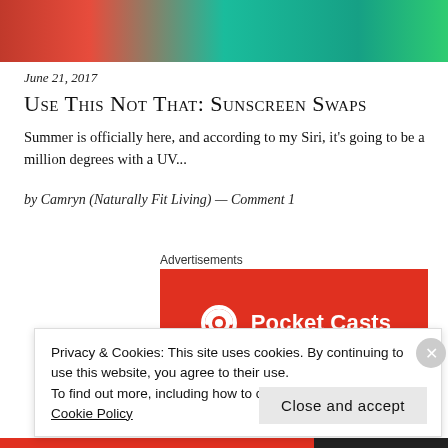[Figure (photo): Top banner image showing colorful fabric — red and teal/green textured materials]
June 21, 2017
Use This Not That: Sunscreen Swaps
Summer is officially here, and according to my Siri, it's going to be a million degrees with a UV...
by Camryn (Naturally Fit Living) — Comment 1
Advertisements
[Figure (logo): Pocket Casts advertisement banner — red background with Pocket Casts icon and white bold text]
Privacy & Cookies: This site uses cookies. By continuing to use this website, you agree to their use.
To find out more, including how to control cookies, see here:
Cookie Policy
Close and accept